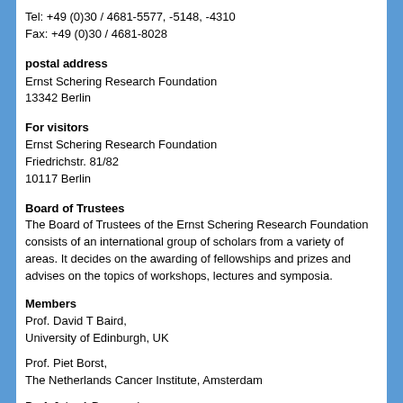Tel: +49 (0)30 / 4681-5577, -5148, -4310
Fax: +49 (0)30 / 4681-8028
postal address
Ernst Schering Research Foundation
13342 Berlin
For visitors
Ernst Schering Research Foundation
Friedrichstr. 81/82
10117 Berlin
Board of Trustees
The Board of Trustees of the Ernst Schering Research Foundation consists of an international group of scholars from a variety of areas. It decides on the awarding of fellowships and prizes and advises on the topics of workshops, lectures and symposia.
Members
Prof. David T Baird,
University of Edinburgh, UK
Prof. Piet Borst,
The Netherlands Cancer Institute, Amsterdam
Prof. John A Dormandy,
St. George's Hospital, London
Prof. Manfred Erhardt, Senator (ret.)
Stifterverband fŸr die Deutsche Wissenschaft, Essen
Prof. Albin Eser,
Max Planck Institute for Foreign and International Criminal Law,